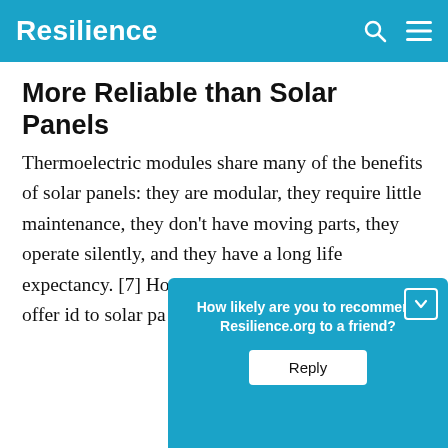Resilience
More Reliable than Solar Panels
Thermoelectric modules share many of the benefits of solar panels: they are modular, they require little maintenance, they don’t have moving parts, they operate silently, and they have a long life expectancy. [7] However, thermoelectric modu…lso offer i…d to solar p…a
How likely are you to recommend Resilience.org to a friend?
Reply